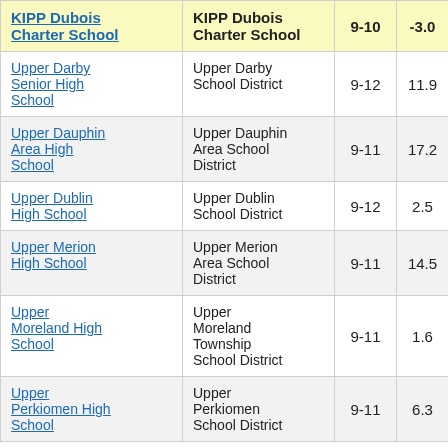| School | District | Grades | Score |  |
| --- | --- | --- | --- | --- |
| KIPP Dubois Charter School | KIPP Dubois Charter School | 9-10 | -3.0 | 3 |
| Upper Darby Senior High School | Upper Darby School District | 9-12 | 11.9 |  |
| Upper Dauphin Area High School | Upper Dauphin Area School District | 9-11 | 17.2 | 5 |
| Upper Dublin High School | Upper Dublin School District | 9-12 | 2.5 |  |
| Upper Merion High School | Upper Merion Area School District | 9-11 | 14.5 |  |
| Upper Moreland High School | Upper Moreland Township School District | 9-11 | 1.6 |  |
| Upper Perkiomen High School | Upper Perkiomen School District | 9-11 | 6.3 |  |